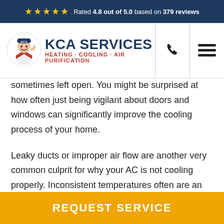Rated 4.8 out of 5.0 based on 379 reviews
[Figure (logo): KCA Services logo with cartoon technician mascot wearing a KCA cap, giving thumbs up. Text reads KCA SERVICES HEATING · COOLING · AIR PURIFICATION]
sometimes left open. You might be surprised at how often just being vigilant about doors and windows can significantly improve the cooling process of your home.
Leaky ducts or improper air flow are another very common culprit for why your AC is not cooling properly. Inconsistent temperatures often are an indicator that there may be a problem if these ducts...
REQUEST SERVICE